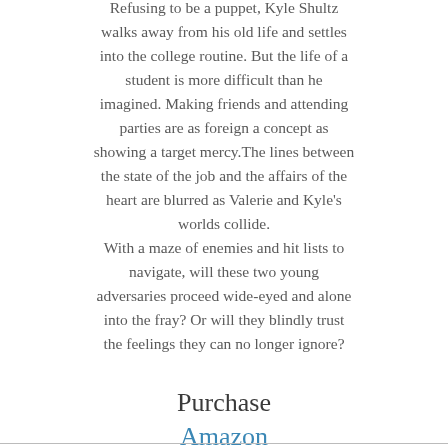Refusing to be a puppet, Kyle Shultz walks away from his old life and settles into the college routine. But the life of a student is more difficult than he imagined. Making friends and attending parties are as foreign a concept as showing a target mercy.The lines between the state of the job and the affairs of the heart are blurred as Valerie and Kyle's worlds collide. With a maze of enemies and hit lists to navigate, will these two young adversaries proceed wide-eyed and alone into the fray? Or will they blindly trust the feelings they can no longer ignore?
Purchase
Amazon